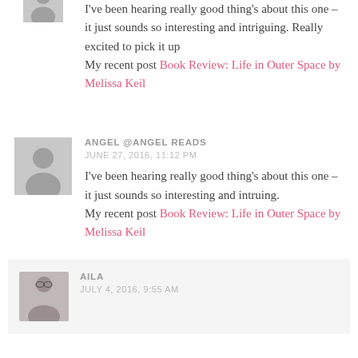[Figure (illustration): Gray avatar placeholder icon (person silhouette), partially visible at top]
I've been hearing really good thing's about this one – it just sounds so interesting and intriguing. Really excited to pick it up
My recent post Book Review: Life in Outer Space by Melissa Keil
ANGEL @ANGEL READS
JUNE 27, 2016, 11:12 PM
I've been hearing really good thing's about this one – it just sounds so interesting and intruing.
My recent post Book Review: Life in Outer Space by Melissa Keil
AILA
JULY 4, 2016, 9:55 AM